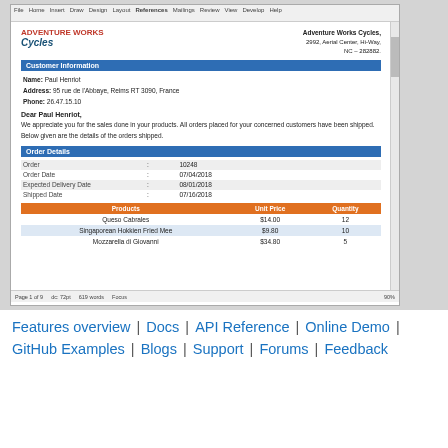[Figure (screenshot): Screenshot of a Word document showing an Adventure Works Cycles order confirmation letter with customer information, order details table, and products table with columns Products, Unit Price, Quantity.]
Features overview | Docs | API Reference | Online Demo | GitHub Examples | Blogs | Support | Forums | Feedback